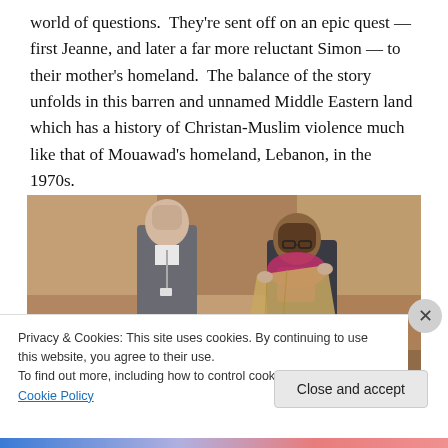world of questions.  They're sent off on an epic quest — first Jeanne, and later a far more reluctant Simon — to their mother's homeland.  The balance of the story unfolds in this barren and unnamed Middle Eastern land which has a history of Christan-Muslim violence much like that of Mouawad's homeland, Lebanon, in the 1970s.
[Figure (photo): Two actors on stage: a man in a grey suit on the left looking toward the right, and a woman with glasses wearing a pink/magenta scarf holding up a tan garment, against a warm beige/tan geometric backdrop.]
Privacy & Cookies: This site uses cookies. By continuing to use this website, you agree to their use.
To find out more, including how to control cookies, see here: Cookie Policy
Close and accept